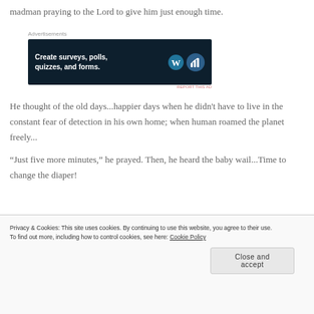madman praying to the Lord to give him just enough time.
[Figure (other): Advertisement banner: 'Create surveys, polls, quizzes, and forms.' with WordPress and Crowdsignal logos on dark navy background.]
He thought of the old days...happier days when he didn't have to live in the constant fear of detection in his own home; when human roamed the planet freely...
“Just five more minutes,” he prayed. Then, he heard the baby wail...Time to change the diaper!
Privacy & Cookies: This site uses cookies. By continuing to use this website, you agree to their use. To find out more, including how to control cookies, see here: Cookie Policy
Close and accept